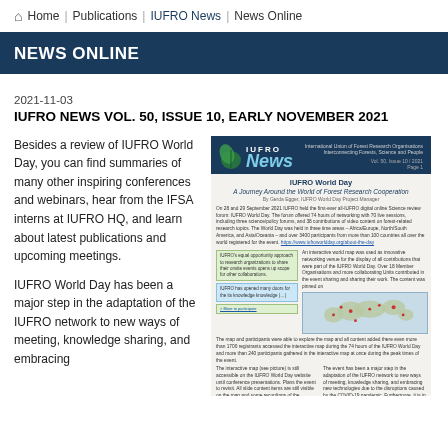Home | Publications | IUFRO News | News Online
NEWS ONLINE
2021-11-03
IUFRO NEWS VOL. 50, ISSUE 10, EARLY NOVEMBER 2021
Besides a review of IUFRO World Day, you can find summaries of many other inspiring conferences and webinars, hear from the IFSA interns at IUFRO HQ, and learn about latest publications and upcoming meetings.

IUFRO World Day has been a major step in the adaptation of the IUFRO network to new ways of meeting, knowledge sharing, and embracing
[Figure (screenshot): Preview thumbnail of IUFRO News newsletter cover page showing Vol.50 Issue 10/2021, with IUFRO World Day headline 'A Journey Around the World of Forest Research Cooperation' and a world map with participant markers]